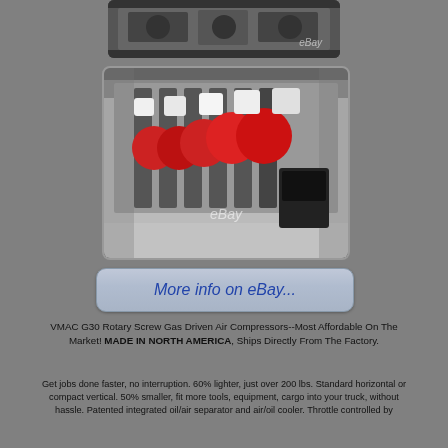[Figure (photo): Partial top photo of gas compressor equipment on rack with eBay watermark]
[Figure (photo): Row of VMAC G30 Rotary Screw Gas Driven Air Compressors assembled on a rack in a factory, showing red engine components, with eBay watermark]
[Figure (screenshot): More info on eBay... button/link styled as a rounded rectangle with cursive blue text]
VMAC G30 Rotary Screw Gas Driven Air Compressors--Most Affordable On The Market! MADE IN NORTH AMERICA, Ships Directly From The Factory.
Get jobs done faster, no interruption. 60% lighter, just over 200 lbs. Standard horizontal or compact vertical. 50% smaller, fit more tools, equipment, cargo into your truck, without hassle. Patented integrated oil/air separator and air/oil cooler. Throttle controlled by